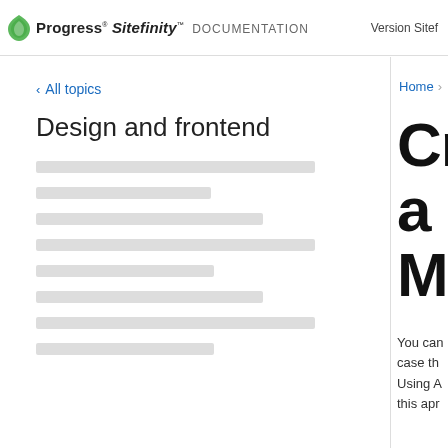Progress Sitefinity DOCUMENTATION  Version Sitef...
< All topics
Design and frontend
[Figure (other): Skeleton loading bars (placeholder content lines)]
Home >
Cre... a M...
You can... case th... Using A... this apr...